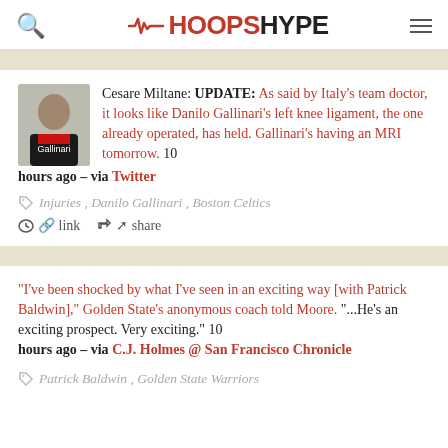HOOPSHYPE
Cesare Miltane: UPDATE: As said by Italy's team doctor, it looks like Danilo Gallinari's left knee ligament, the one already operated, has held. Gallinari's having an MRI tomorrow. 10 hours ago – via Twitter
Injuries, Danilo Gallinari, Boston Celtics
link  share
“I've been shocked by what I've seen in an exciting way [with Patrick Baldwin],” Golden State's anonymous coach told Moore. “...He's an exciting prospect. Very exciting.” 10 hours ago – via C.J. Holmes @ San Francisco Chronicle
Patrick Baldwin, Golden State Warriors